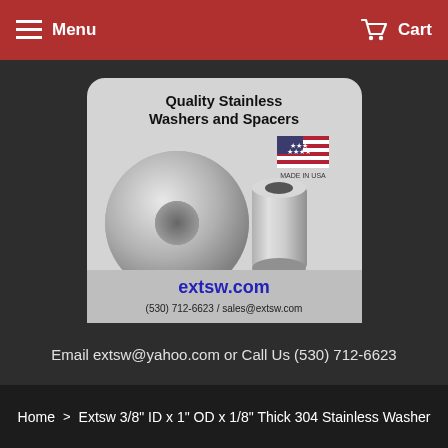Menu | Cart
[Figure (logo): Quality Stainless Washers and Spacers product badge showing a flat washer and cylindrical spacer with US flag, extsw.com, (530) 712-6623 / sales@extsw.com]
Email extsw@yahoo.com or Call Us (530) 712-6623
Home > Extsw 3/8" ID x 1" OD x 1/8" Thick 304 Stainless Washer